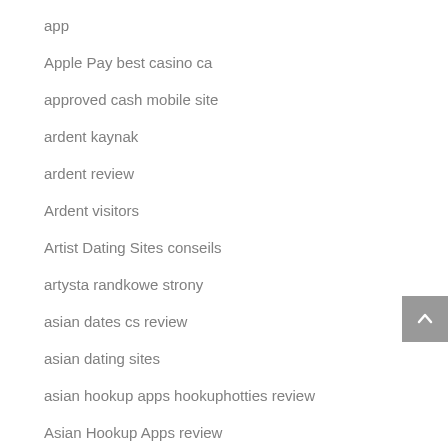app
Apple Pay best casino ca
approved cash mobile site
ardent kaynak
ardent review
Ardent visitors
Artist Dating Sites conseils
artysta randkowe strony
asian dates cs review
asian dating sites
asian hookup apps hookuphotties review
Asian Hookup Apps review
asiandate incontri
Atheist Dating lokalny
auto max title loans